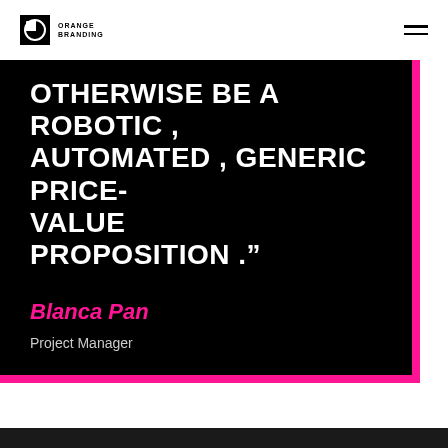ORANGE BRANDING
OTHERWISE BE A ROBOTIC , AUTOMATED , GENERIC PRICE-VALUE PROPOSITION ."
Blanca Pan
Project Manager